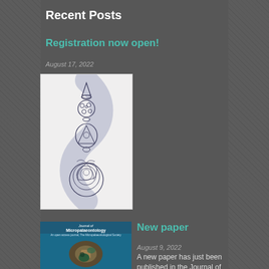Recent Posts
Registration now open!
August 17, 2022
[Figure (illustration): Scientific illustration showing stacked foraminifera specimens in black and white line art with a gray swirling background: from top to bottom, a conical spiral shell, a round spiny sphere, a triangular shell, a small round shell, and a large coiled nautilus-like shell.]
[Figure (photo): Journal of Micropalaeontology cover showing a blue background with an image of a fossil or rock specimen.]
New paper
August 9, 2022
A new paper has just been published in the Journal of